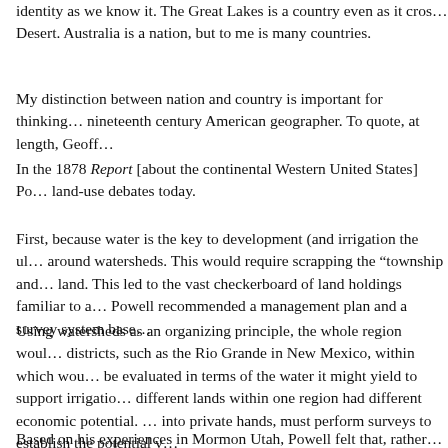identity as we know it. The Great Lakes is a country even as it cros... Desert. Australia is a nation, but to me is many countries.
My distinction between nation and country is important for thinking... nineteenth century American geographer. To quote, at length, Geoff...
In the 1878 Report [about the continental Western United States] Po... land-use debates today.
First, because water is the key to development (and irrigation the ul... around watersheds. This would require scrapping the “township and... land. This led to the vast checkerboard of land holdings familiar to a... Powell recommended a management plan and a survey system base...
Using watersheds as an organizing principle, the whole region woul... districts, such as the Rio Grande in New Mexico, within which wou... be evaluated in terms of the water it might yield to support irrigatio... different lands within one region had different economic potential. ... into private hands, must perform surveys to establish the potential v...
Based on his experiences in Mormon Utah, Powell felt that, rather...